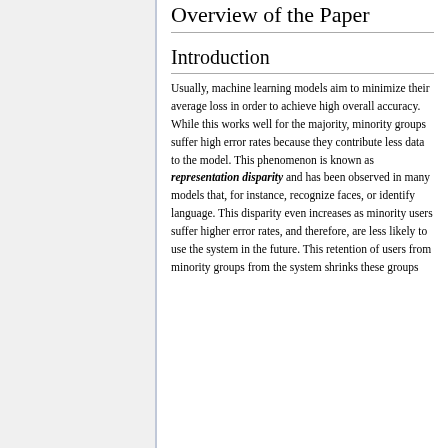Overview of the Paper
Introduction
Usually, machine learning models aim to minimize their average loss in order to achieve high overall accuracy. While this works well for the majority, minority groups suffer high error rates because they contribute less data to the model. This phenomenon is known as representation disparity and has been observed in many models that, for instance, recognize faces, or identify language. This disparity even increases as minority users suffer higher error rates, and therefore, are less likely to use the system in the future. This retention of users from minority groups from the system shrinks these groups